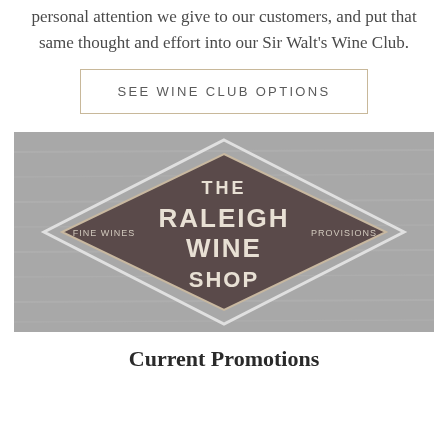personal attention we give to our customers, and put that same thought and effort into our Sir Walt's Wine Club.
SEE WINE CLUB OPTIONS
[Figure (logo): The Raleigh Wine Shop logo — diamond shaped sign on wood background reading 'THE RALEIGH WINE SHOP · FINE WINES · PROVISIONS', grayscale photo]
Current Promotions